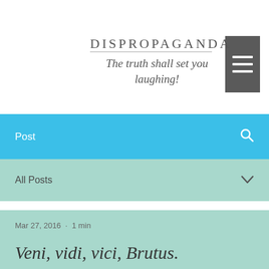DISPROPAGANDA
The truth shall set you laughing!
Post
All Posts
Mar 27, 2016  ·  1 min
Veni, vidi, vici, Brutus.